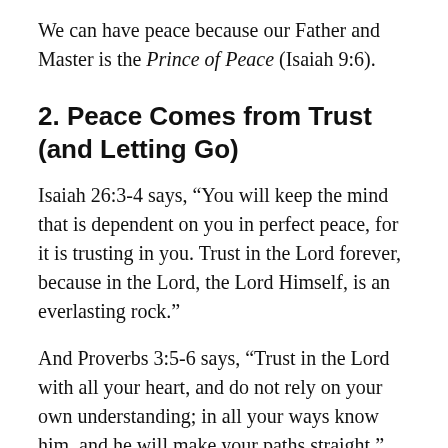We can have peace because our Father and Master is the Prince of Peace (Isaiah 9:6).
2. Peace Comes from Trust (and Letting Go)
Isaiah 26:3-4 says, “You will keep the mind that is dependent on you in perfect peace, for it is trusting in you. Trust in the Lord forever, because in the Lord, the Lord Himself, is an everlasting rock.”
And Proverbs 3:5-6 says, “Trust in the Lord with all your heart, and do not rely on your own understanding; in all your ways know him, and he will make your paths straight.”